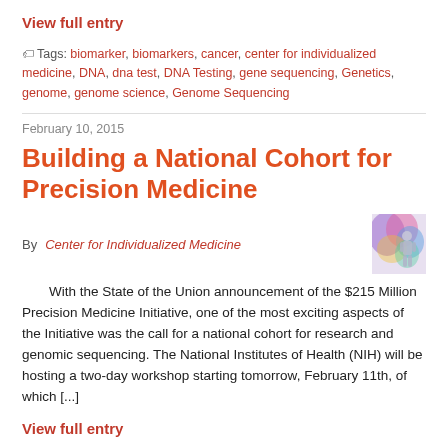View full entry
Tags: biomarker, biomarkers, cancer, center for individualized medicine, DNA, dna test, DNA Testing, gene sequencing, Genetics, genome, genome science, Genome Sequencing
February 10, 2015
Building a National Cohort for Precision Medicine
By Center for Individualized Medicine
[Figure (illustration): Small colorful illustration showing a stylized human figure with colorful DNA/genomic imagery]
With the State of the Union announcement of the $215 Million Precision Medicine Initiative, one of the most exciting aspects of the Initiative was the call for a national cohort for research and genomic sequencing. The National Institutes of Health (NIH) will be hosting a two-day workshop starting tomorrow, February 11th, of which [...]
View full entry